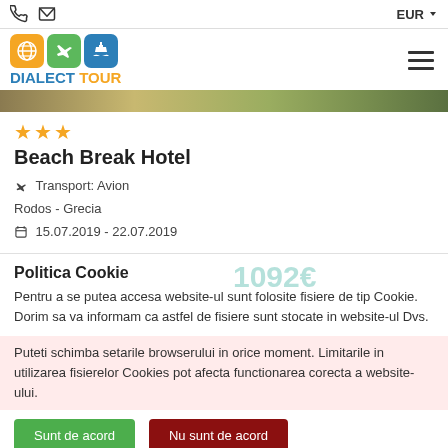EUR
[Figure (logo): Dialect Tour logo with globe, airplane and ship icons in orange, green and blue]
[Figure (photo): Hotel exterior/beach image strip]
★★★
Beach Break Hotel
✈ Transport: Avion
Rodos - Grecia
📅 15.07.2019 - 22.07.2019
Politica Cookie
Pentru a se putea accesa website-ul sunt folosite fisiere de tip Cookie. Dorim sa va informam ca astfel de fisiere sunt stocate in website-ul Dvs.
Puteti schimba setarile browserului in orice moment. Limitarile in utilizarea fisierelor Cookies pot afecta functionarea corecta a website-ului.